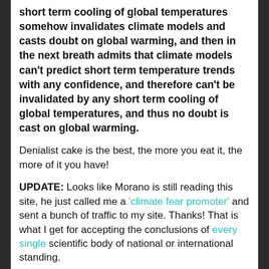short term cooling of global temperatures somehow invalidates climate models and casts doubt on global warming, and then in the next breath admits that climate models can't predict short term temperature trends with any confidence, and therefore can't be invalidated by any short term cooling of global temperatures, and thus no doubt is cast on global warming.
Denialist cake is the best, the more you eat it, the more of it you have!
UPDATE: Looks like Morano is still reading this site, he just called me a 'climate fear promoter' and sent a bunch of traffic to my site. Thanks! That is what I get for accepting the conclusions of every single scientific body of national or international standing.